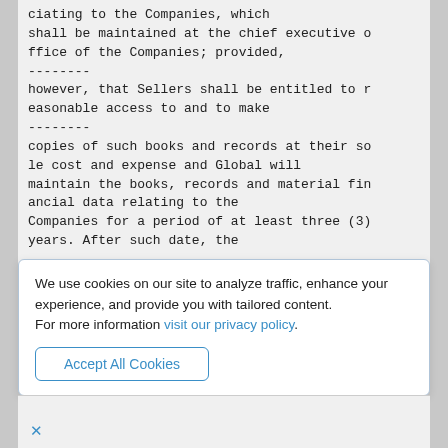ciating to the Companies, which
shall be maintained at the chief executive o
ffice of the Companies; provided,
--------
however, that Sellers shall be entitled to r
easonable access to and to make
--------
copies of such books and records at their so
le cost and expense and Global will
maintain the books, records and material fin
ancial data relating to the
Companies for a period of at least three (3)
years. After such date, the
We use cookies on our site to analyze traffic, enhance your experience, and provide you with tailored content.
For more information visit our privacy policy.
Accept All Cookies